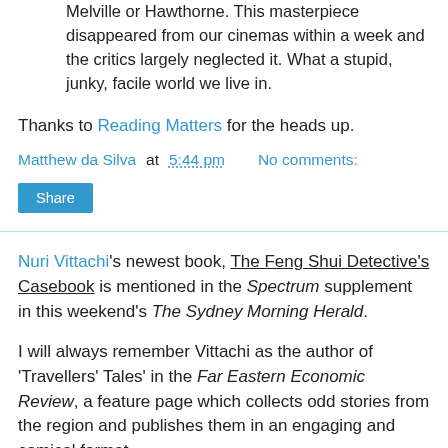Melville or Hawthorne. This masterpiece disappeared from our cinemas within a week and the critics largely neglected it. What a stupid, junky, facile world we live in.
Thanks to Reading Matters for the heads up.
Matthew da Silva at 5:44 pm   No comments:
Share
Nuri Vittachi's newest book, The Feng Shui Detective's Casebook is mentioned in the Spectrum supplement in this weekend's The Sydney Morning Herald.
I will always remember Vittachi as the author of 'Travellers' Tales' in the Far Eastern Economic Review, a feature page which collects odd stories from the region and publishes them in an engaging and comical format.